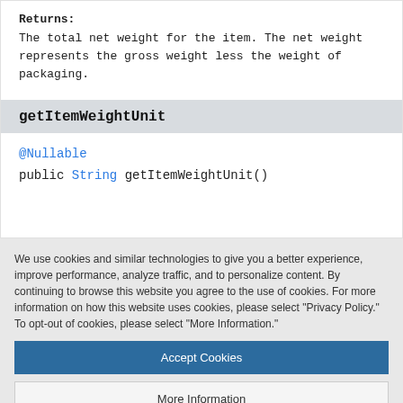Returns:
The total net weight for the item. The net weight represents the gross weight less the weight of packaging.
getItemWeightUnit
@Nullable
public String getItemWeightUnit()
We use cookies and similar technologies to give you a better experience, improve performance, analyze traffic, and to personalize content. By continuing to browse this website you agree to the use of cookies. For more information on how this website uses cookies, please select "Privacy Policy." To opt-out of cookies, please select "More Information."
Accept Cookies
More Information
Privacy Policy | Powered by: TrustArc